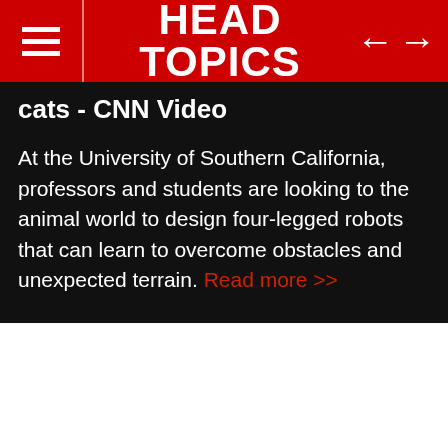HEAD TOPICS
cats - CNN Video
At the University of Southern California, professors and students are looking to the animal world to design four-legged robots that can learn to overcome obstacles and unexpected terrain. Read more >>